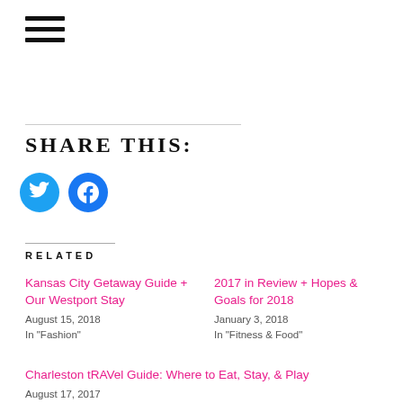[Figure (illustration): Hamburger menu icon (three horizontal bars)]
SHARE THIS:
[Figure (illustration): Twitter and Facebook social sharing icon buttons (circular blue icons)]
RELATED
Kansas City Getaway Guide + Our Westport Stay
August 15, 2018
In "Fashion"
2017 in Review + Hopes & Goals for 2018
January 3, 2018
In "Fitness & Food"
Charleston tRAVel Guide: Where to Eat, Stay, & Play
August 17, 2017